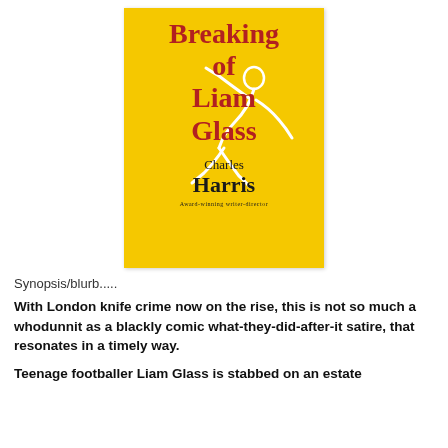[Figure (illustration): Book cover for 'Breaking of Liam Glass' by Charles Harris. Yellow background with white outline figure of a person and red serif title text. Subtitle 'Award-winning writer-director' at bottom.]
Synopsis/blurb.....
With London knife crime now on the rise, this is not so much a whodunnit as a blackly comic what-they-did-after-it satire, that resonates in a timely way.
Teenage footballer Liam Glass is stabbed on an estate